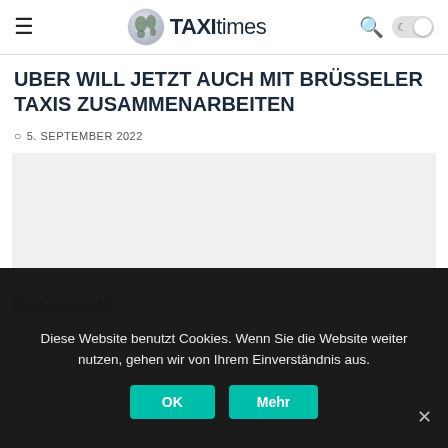TAXI times
UBER WILL JETZT AUCH MIT BRÜSSELER TAXIS ZUSAMMENARBEITEN
5. SEPTEMBER 2022
[Figure (photo): Article image placeholder with 'UBER-FILES' tag overlay]
Diese Website benutzt Cookies. Wenn Sie die Website weiter nutzen, gehen wir von Ihrem Einverständnis aus.